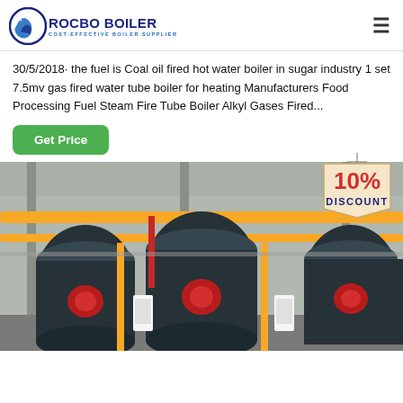ROCBO BOILER — COST-EFFECTIVE BOILER SUPPLIER
30/5/2018· the fuel is Coal oil fired hot water boiler in sugar industry 1 set 7.5mv gas fired water tube boiler for heating Manufacturers Food Processing Fuel Steam Fire Tube Boiler Alkyl Gases Fired...
Get Price
[Figure (photo): Industrial boiler room with three large blue cylindrical water tube boilers, red burners, yellow overhead gas pipes, and control panels on the factory floor.]
[Figure (infographic): 10% DISCOUNT badge/sign hanging from a string, with red bold text '10%' and 'DISCOUNT' on a cream/tan banner shape.]